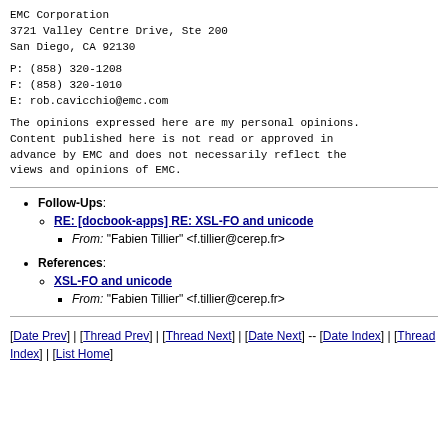EMC Corporation
3721 Valley Centre Drive, Ste 200
San Diego, CA 92130
P: (858) 320-1208
F: (858) 320-1010
E: rob.cavicchio@emc.com
The opinions expressed here are my personal opinions. Content published here is not read or approved in advance by EMC and does not necessarily reflect the views and opinions of EMC.
Follow-Ups:
RE: [docbook-apps] RE: XSL-FO and unicode
From: "Fabien Tillier" <f.tillier@cerep.fr>
References:
XSL-FO and unicode
From: "Fabien Tillier" <f.tillier@cerep.fr>
[Date Prev] | [Thread Prev] | [Thread Next] | [Date Next] -- [Date Index] | [Thread Index] | [List Home]